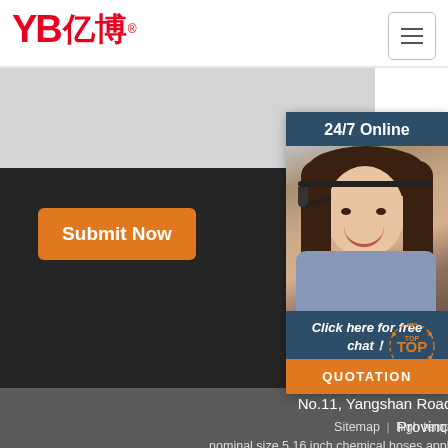[Figure (logo): YB 亿博 company logo in red]
[Figure (screenshot): Hamburger menu icon button]
[Figure (photo): 24/7 Online chat support panel with woman wearing headset, Click here for free chat! text, and QUOTATION orange button]
Submit Now
No.11, Yangshan Road, Shaoling District, Luo... Province, China
Sitemap | high temperature water hose houston | nominal size 5 16 inch chemical hoses applicable chemicals | flexible vacuum hoses sale south